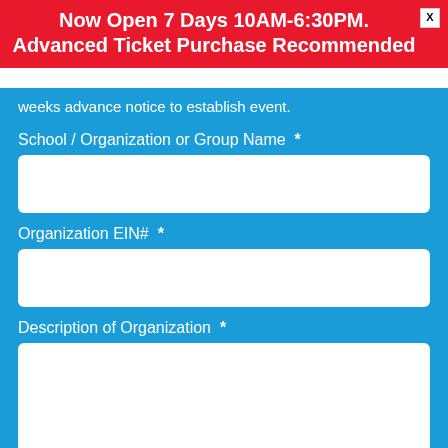Now Open 7 Days 10AM-6:30PM. Advanced Ticket Purchase Recommended
weeks advance notice to establish event.
School / Organization or Group Name  *
Organization EIN#  *
Description of Organization  *
Estimated Number of Attendees  *